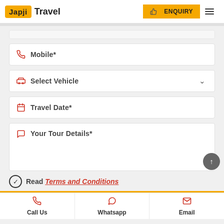Japji Travel — ENQUIRY
Mobile*
Select Vehicle
Travel Date*
Your Tour Details*
Read Terms and Conditions
Call Us  Whatsapp  Email